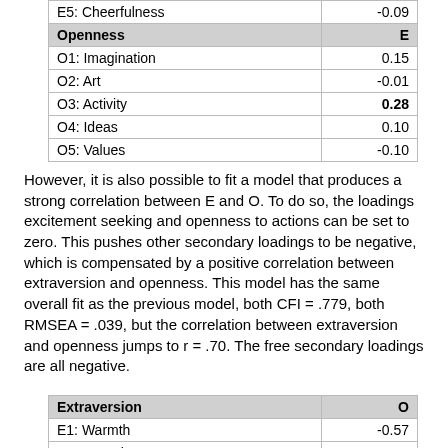|  | E |
| --- | --- |
| E5: Cheerfulness | -0.09 |
| Openness | E |
| O1: Imagination | 0.15 |
| O2: Art | -0.01 |
| O3: Activity | 0.28 |
| O4: Ideas | 0.10 |
| O5: Values | -0.10 |
However, it is also possible to fit a model that produces a strong correlation between E and O. To do so, the loadings excitement seeking and openness to actions can be set to zero. This pushes other secondary loadings to be negative, which is compensated by a positive correlation between extraversion and openness. This model has the same overall fit as the previous model, both CFI = .779, both RMSEA = .039, but the correlation between extraversion and openness jumps to r = .70. The free secondary loadings are all negative.
| Extraversion | O |
| --- | --- |
| E1: Warmth | -0.57 |
| E2: Assertiveness | -0.09 |